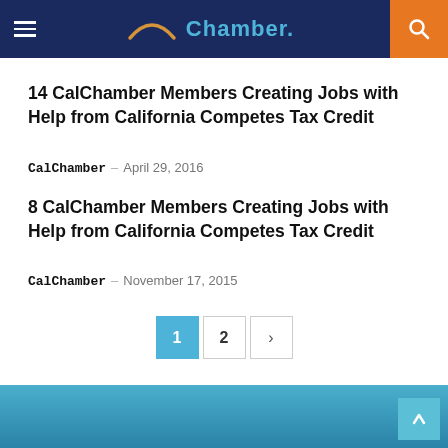Chamber.
14 CalChamber Members Creating Jobs with Help from California Competes Tax Credit
CalChamber – April 29, 2016
8 CalChamber Members Creating Jobs with Help from California Competes Tax Credit
CalChamber – November 17, 2015
1 2 >